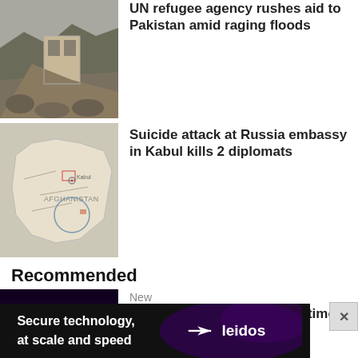[Figure (photo): Flood disaster scene with damaged building on rocky hillside]
UN refugee agency rushes aid to Pakistan amid raging floods
[Figure (map): Map showing Afghanistan with Kabul marked]
Suicide attack at Russia embassy in Kabul kills 2 diplomats
Recommended
[Figure (photo): E. coli bacteria microscope image, purple/blue colored rod-shaped bacteria]
New
E. coli bacteria found in Baltimore drinking water samples
[Figure (photo): Car scene, teal/turquoise car with person inside]
1 of 2 men shot in Woodbridge drug raid dies
[Figure (screenshot): Leidos advertisement: Secure technology, at scale and speed]